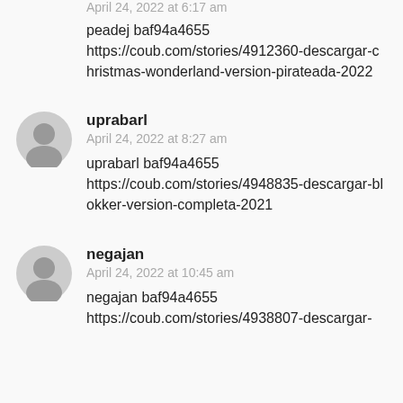April 24, 2022 at 6:17 am
peadej baf94a4655
https://coub.com/stories/4912360-descargar-christmas-wonderland-version-pirateada-2022
uprabarl
April 24, 2022 at 8:27 am
uprabarl baf94a4655
https://coub.com/stories/4948835-descargar-blokker-version-completa-2021
negajan
April 24, 2022 at 10:45 am
negajan baf94a4655
https://coub.com/stories/4938807-descargar-